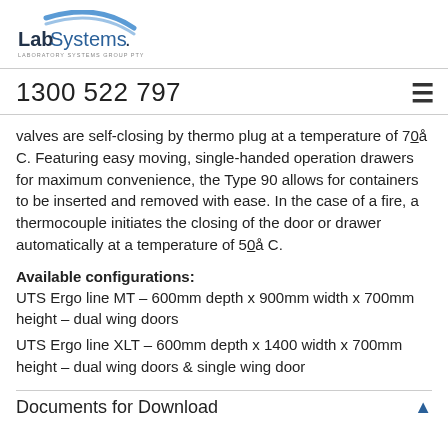[Figure (logo): LabSystems Laboratory Systems Group PTY LTD logo with blue arc and text]
1300 522 797
valves are self-closing by thermo plug at a temperature of 70° C. Featuring easy moving, single-handed operation drawers for maximum convenience, the Type 90 allows for containers to be inserted and removed with ease. In the case of a fire, a thermocouple initiates the closing of the door or drawer automatically at a temperature of 50° C.
Available configurations:
UTS Ergo line MT – 600mm depth x 900mm width x 700mm height – dual wing doors
UTS Ergo line XLT – 600mm depth x 1400 width x 700mm height – dual wing doors & single wing door
Documents for Download